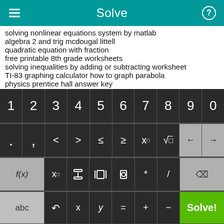Solve
solving nonlinear equations system by matlab
algebra 2 and trig mcdougal littell
quadratic equation with fraction
free printable 8th grade worksheets
solving inequalities by adding or subtracting worksheet
TI-83 graphing calculator how to graph parabola
physics prentice hall answer key
answers to lcm problems
11+ sample sats papers
graphing calculator pics
[Figure (screenshot): Mobile math keyboard with numeric row (1-0), operators row (. , < > ≤ ≥ x□ √□ ← →), function row (f(x) x□ fraction absolute-value parenthesis * / backspace), and bottom row (abc rotate x y = + - Solve!)]